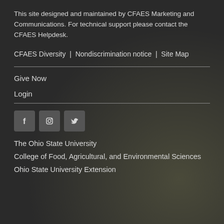This site designed and maintained by CFAES Marketing and Communications. For technical support please contact the CFAES Helpdesk.
CFAES Diversity  |  Nondiscrimination notice  |  Site Map
Give Now
Login
[Figure (other): Social media icons: Facebook, Instagram, Twitter]
The Ohio State University
College of Food, Agricultural, and Environmental Sciences
Ohio State University Extension